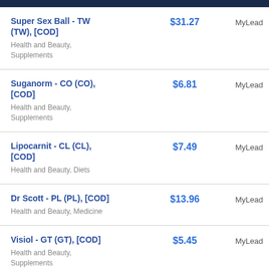| Offer | Price | Network |
| --- | --- | --- |
| Super Sex Ball - TW (TW), [COD]
Health and Beauty, Supplements | $31.27 | MyLead |
| Suganorm - CO (CO), [COD]
Health and Beauty, Supplements | $6.81 | MyLead |
| Lipocarnit - CL (CL), [COD]
Health and Beauty, Diets | $7.49 | MyLead |
| Dr Scott - PL (PL), [COD]
Health and Beauty, Medicine | $13.96 | MyLead |
| Visiol - GT (GT), [COD]
Health and Beauty, Supplements | $5.45 | MyLead |
| HairNovum - PL, LT (LT,PL), [COD]
Health and Beauty, Medicine | $15.35 | MyLead |